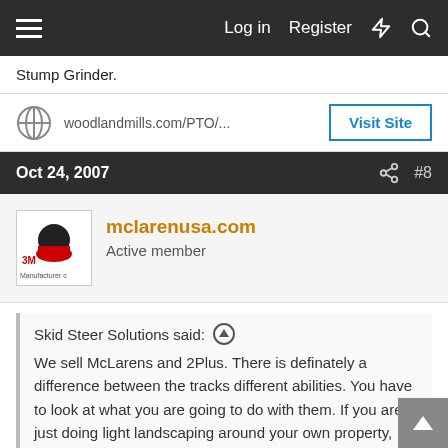Log in  Register
Stump Grinder.
woodlandmills.com/PTO/...  Visit Site
Oct 24, 2007  #8
mclarenusa.com
Active member
Skid Steer Solutions said:
We sell McLarens and 2Plus. There is definately a difference between the tracks different abilities. You have to look at what you are going to do with them. If you are just doing light landscaping around your own property, then 2Plus is the way to go. If you are a heavy commercial user, then go for Protracs. They are far more aggressive and provide much better traction in tough conditions. I have put a season on each type and prefer each type for different uses. Tracksplus tracks are...
Click to expand...